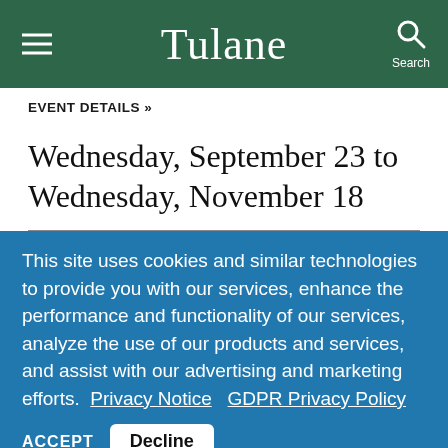Tulane
EVENT DETAILS »
Wednesday, September 23 to Wednesday, November 18
This site uses cookies and similar technologies to provide you with our services, enhance the performance and functionality of our services, analyze the use of our products and services, and assist with our advertising and marketing efforts.  Privacy Notice   GDPR Privacy Policy
ACCEPT   Decline